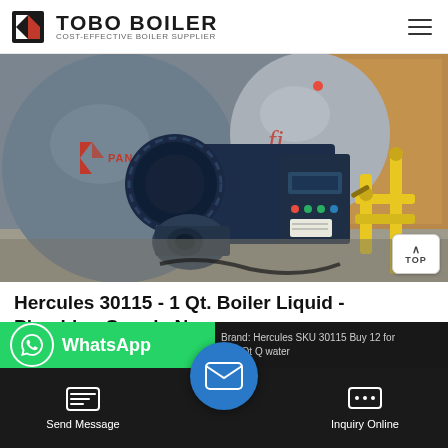TOBO BOILER — COST-EFFECTIVE BOILER SUPPLIER
[Figure (photo): Industrial boiler installation with large cylindrical grey boiler tank bearing PANGXUAI branding, blue burner assembly with motor and control panel, yellow gas piping on right side, indoor industrial setting]
Hercules 30115 - 1 Qt. Boiler Liquid - Plumbing Supply Now
Brand: Hercules SKU 30115 Buy 12 for Add Qt Q water
WhatsApp
Send Message
Inquiry Online